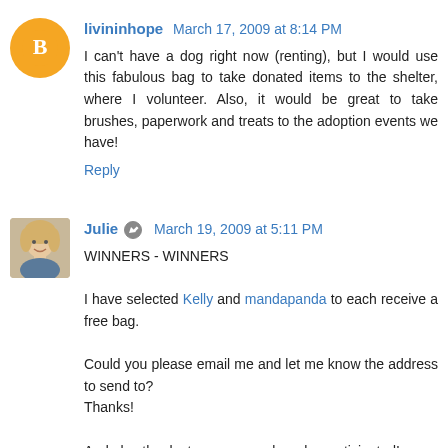livininhope  March 17, 2009 at 8:14 PM
I can't have a dog right now (renting), but I would use this fabulous bag to take donated items to the shelter, where I volunteer. Also, it would be great to take brushes, paperwork and treats to the adoption events we have!
Reply
Julie  March 19, 2009 at 5:11 PM
WINNERS - WINNERS
I have selected Kelly and mandapanda to each receive a free bag.
Could you please email me and let me know the address to send to?
Thanks!
And also thanks to everyone else who participated!